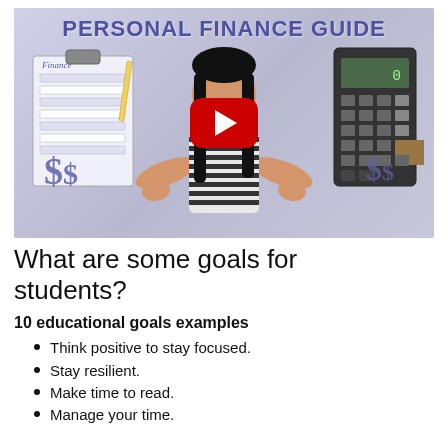[Figure (screenshot): YouTube video thumbnail for 'Personal Finance Guide' showing a young woman in a striped shirt with arms outstretched, finance worksheets on the left, a calculator on the right, dollar sign graphics, and a YouTube play button overlay.]
What are some goals for students?
10 educational goals examples
Think positive to stay focused.
Stay resilient.
Make time to read.
Manage your time.